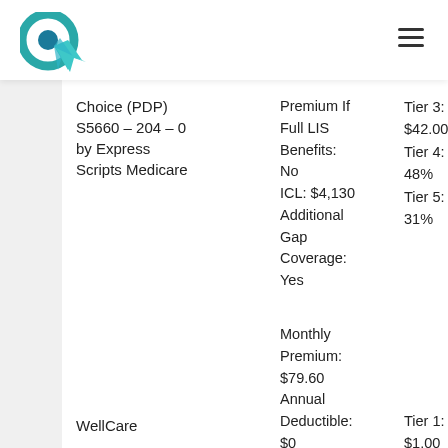Logo and navigation header
Choice (PDP) S5660 – 204 – 0 by Express Scripts Medicare
Premium If Full LIS Benefits: No
ICL: $4,130
Additional Gap Coverage: Yes
Tier 3: $42.00
Tier 4: 48%
Tier 5: 31%
Monthly Premium: $79.60
Annual Deductible: $0
Tier 1: $1.00
Tier 2:
WellCare
Zero